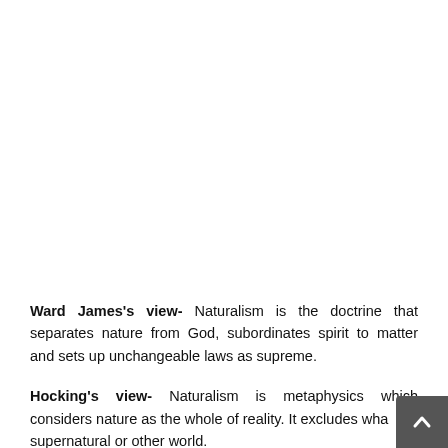Ward James's view- Naturalism is the doctrine that separates nature from God, subordinates spirit to matter and sets up unchangeable laws as supreme.
Hocking's view- Naturalism is metaphysics which considers nature as the whole of reality. It excludes what is supernatural or other world.